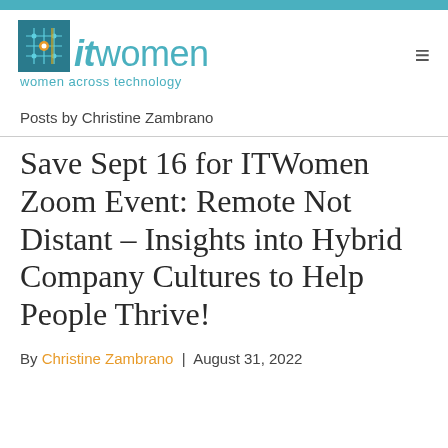[Figure (logo): ITWomen - Women Across Technology logo with circuit board graphic in teal and orange]
Posts by Christine Zambrano
Save Sept 16 for ITWomen Zoom Event: Remote Not Distant – Insights into Hybrid Company Cultures to Help People Thrive!
By Christine Zambrano | August 31, 2022